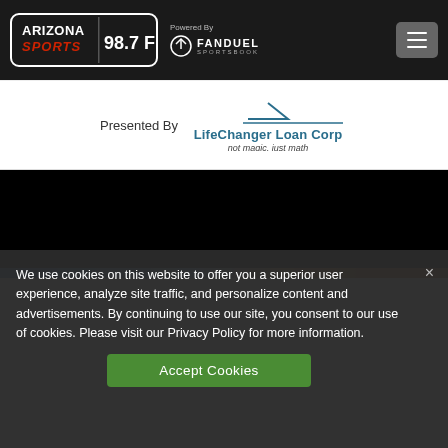Arizona Sports 98.7 FM — Powered By FanDuel Sportsbook
[Figure (logo): Arizona Sports 98.7 FM logo on dark header bar with FanDuel Sportsbook logo and hamburger menu button]
Presented By Life Changer Loan Corp — not magic, just math
[Figure (screenshot): Black video area with colorful image strip at bottom]
We use cookies on this website to offer you a superior user experience, analyze site traffic, and personalize content and advertisements. By continuing to use our site, you consent to our use of cookies. Please visit our Privacy Policy for more information.
Accept Cookies